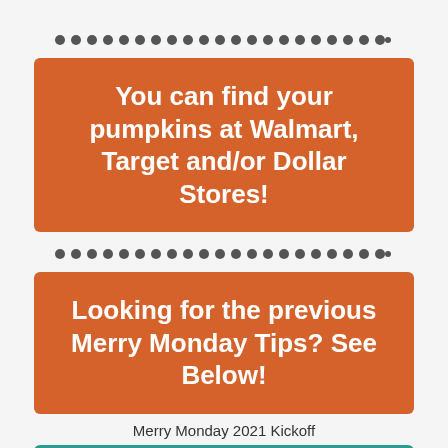You can find your pumpkins at Walmart, Target and/or Dollar Stores!
Looking for the previous Merry Monday Tips?  See Below!
Merry Monday 2021 Kickoff